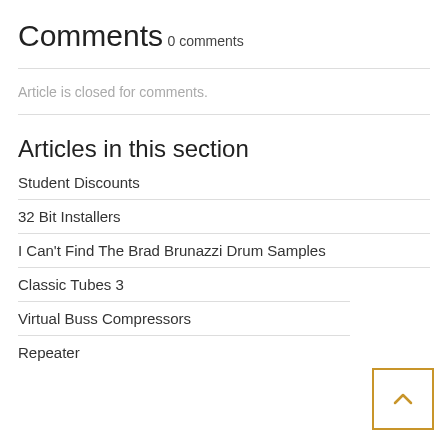Comments
0 comments
Article is closed for comments.
Articles in this section
Student Discounts
32 Bit Installers
I Can't Find The Brad Brunazzi Drum Samples
Classic Tubes 3
Virtual Buss Compressors
Repeater